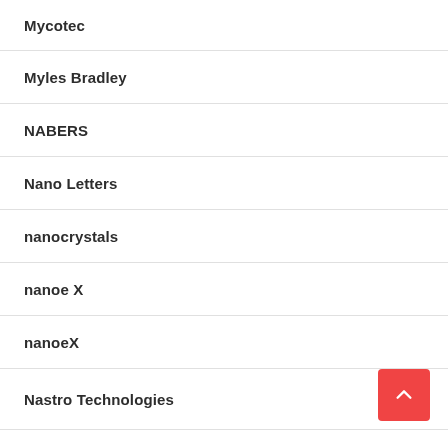Mycotec
Myles Bradley
NABERS
Nano Letters
nanocrystals
nanoe X
nanoeX
Nastro Technologies